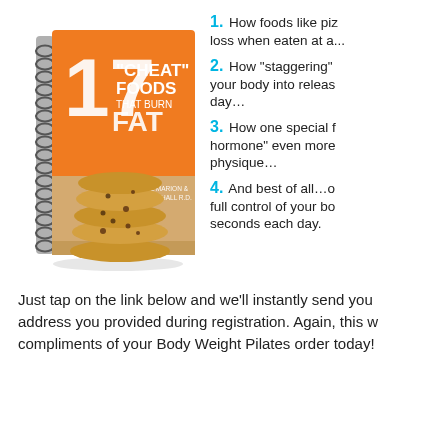[Figure (illustration): Book cover: '17 Cheat Foods That Burn Fat' by Joel Marion & Brett Hall R.D., spiral-bound notebook with stacked chocolate chip cookies on orange cover]
1. How foods like pizza can actually support fat loss when eaten at a...
2. How "staggering" your body into releasing fat all day...
3. How one special food boosts the "fat burning hormone" even more, transforming your physique...
4. And best of all...gives you full control of your body in seconds each day.
Just tap on the link below and we'll instantly send you to the address you provided during registration. Again, this was compliments of your Body Weight Pilates order today!